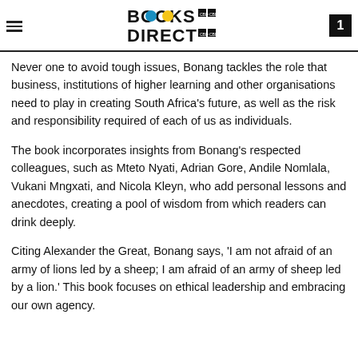BOOKS DIRECT | Page 1
Never one to avoid tough issues, Bonang tackles the role that business, institutions of higher learning and other organisations need to play in creating South Africa's future, as well as the risk and responsibility required of each of us as individuals.
The book incorporates insights from Bonang's respected colleagues, such as Mteto Nyati, Adrian Gore, Andile Nomlala, Vukani Mngxati, and Nicola Kleyn, who add personal lessons and anecdotes, creating a pool of wisdom from which readers can drink deeply.
Citing Alexander the Great, Bonang says, 'I am not afraid of an army of lions led by a sheep; I am afraid of an army of sheep led by a lion.' This book focuses on ethical leadership and embracing our own agency.